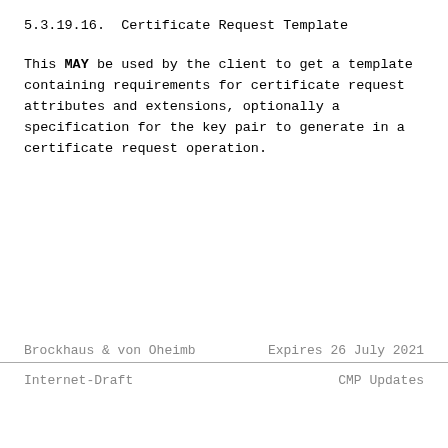5.3.19.16.  Certificate Request Template
This MAY be used by the client to get a template containing requirements for certificate request attributes and extensions, optionally a specification for the key pair to generate in a certificate request operation.
Brockhaus & von Oheimb    Expires 26 July 2021

Internet-Draft                        CMP Updates